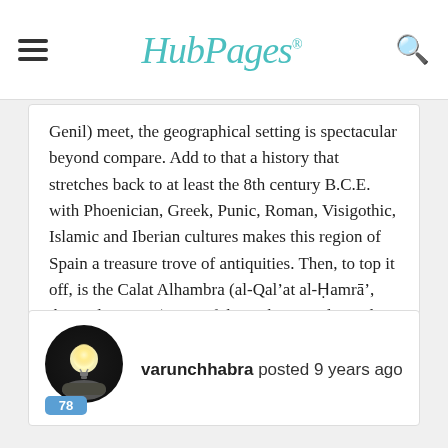HubPages
Genil) meet, the geographical setting is spectacular beyond compare. Add to that a history that stretches back to at least the 8th century B.C.E. with Phoenician, Greek, Punic, Roman, Visigothic, Islamic and Iberian cultures makes this region of Spain a treasure trove of antiquities. Then, to top it off, is the Calat Alhambra (al-Qal’at al-Ḥamrā’, the Red Fortress), one of the architectural wonders of the ancient and modern worlds.
reply   report
varunchhabra posted 9 years ago
[Figure (photo): Avatar of user varunchhabra: circular profile photo showing a glowing light bulb held in a hand against a dark background, with a blue badge showing the number 78]